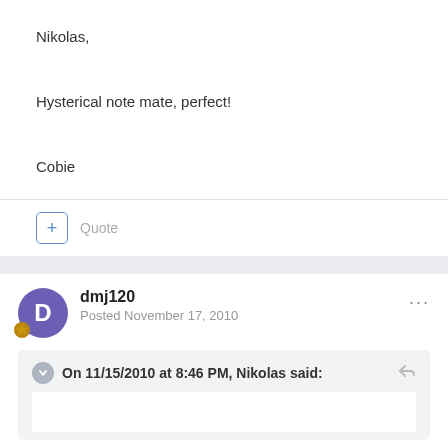Nikolas,
Hysterical note mate, perfect!
Cobie
+ Quote
dmj120
Posted November 17, 2010
On 11/15/2010 at 8:46 PM, Nikolas said: